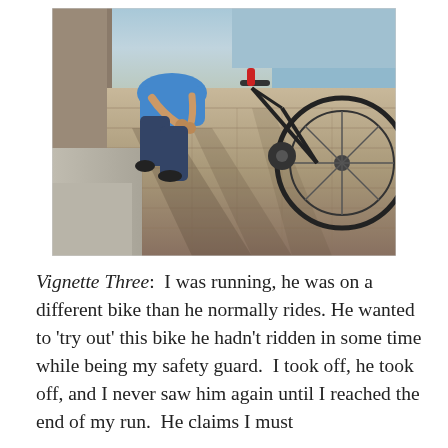[Figure (photo): A person crouching down near a bicycle on a brick/cobblestone path, appearing to adjust or fix something on the bike. The bike wheel is visible on the right side. The scene is outdoors on a sunny day with shadows visible on the pavement.]
Vignette Three:  I was running, he was on a different bike than he normally rides. He wanted to 'try out' this bike he hadn't ridden in some time while being my safety guard.  I took off, he took off, and I never saw him again until I reached the end of my run.  He claims I must